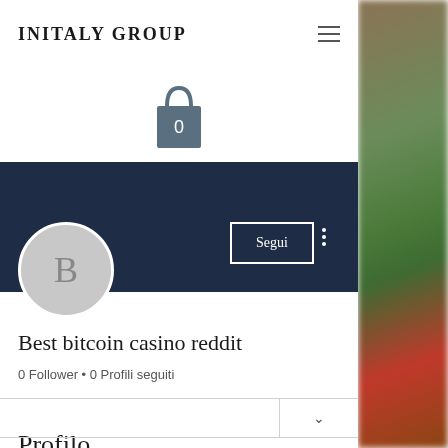INITALY GROUP
[Figure (illustration): Shopping bag icon with number 0 inside, dark teal/slate color]
[Figure (illustration): Dark navy blue banner/header section for user profile page]
[Figure (illustration): Circular avatar with letter B in gray]
Segui
Best bitcoin casino reddit
0 Follower • 0 Profili seguiti
Profilo